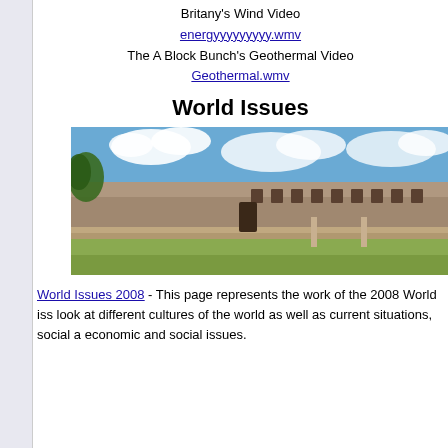Britany's Wind Video
energyyyyyyyyy.wmv
The A Block Bunch's Geothermal Video
Geothermal.wmv
World Issues
[Figure (photo): Photograph of ancient Mayan ruins with stone facade building, grassy courtyard, and cloudy blue sky]
World Issues 2008 - This page represents the work of the 2008 World iss... look at different cultures of the world as well as current situations, social ... economic and social issues.